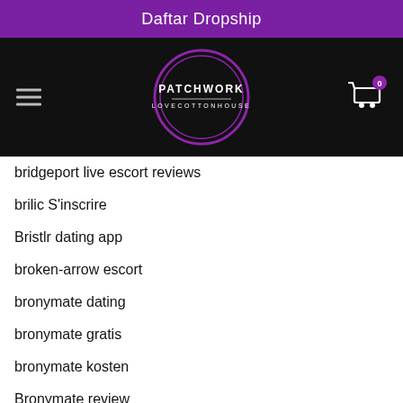Daftar Dropship
[Figure (logo): Patchwork Love Cotton House logo — white circular logo with purple ring on black navigation bar, with hamburger menu icon on left and shopping cart with badge '0' on right]
bridgeport live escort reviews
brilic S'inscrire
Bristlr dating app
broken-arrow escort
bronymate dating
bronymate gratis
bronymate kosten
Bronymate review